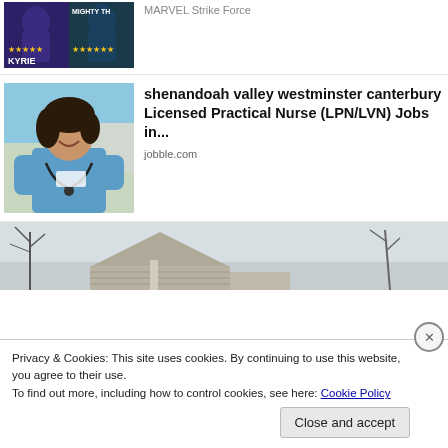[Figure (screenshot): Marvel Strike Force game ad thumbnail with KYRIE and MIGHTY TH text visible, star ratings]
MARVEL Strike Force
[Figure (photo): Photo of a smiling nurse in blue scrubs with stethoscope]
shenandoah valley westminster canterbury Licensed Practical Nurse (LPN/LVN) Jobs in...
jobble.com
[Figure (photo): Photo of a house exterior with siding and bare trees]
Privacy & Cookies: This site uses cookies. By continuing to use this website, you agree to their use.
To find out more, including how to control cookies, see here: Cookie Policy
Close and accept